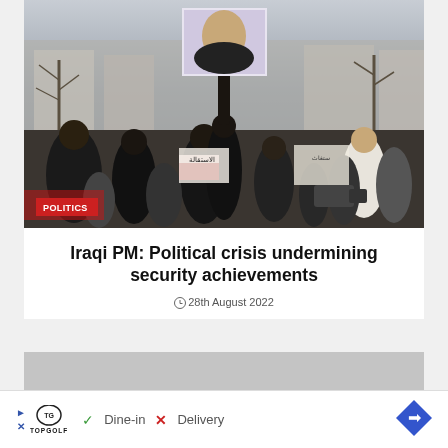[Figure (photo): Crowd of protesters in a street scene; a person holds up a large portrait of a man; people hold signs with Arabic text; some wear black clothing; a man in white is visible on the right; trees visible in background.]
POLITICS
Iraqi PM: Political crisis undermining security achievements
28th August 2022
[Figure (infographic): Advertisement bar: Topgolf logo with play icon, checkmark Dine-in, X Delivery, blue diamond arrow icon on right.]